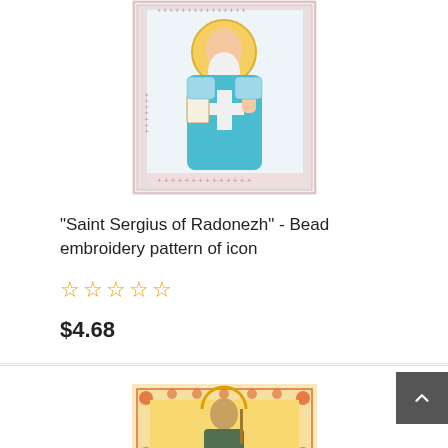[Figure (photo): Bead embroidery pattern of icon showing Saint Sergius of Radonezh with halo, blue robes, white beard, holding a cross, surrounded by decorative border with cross patterns]
"Saint Sergius of Radonezh" - Bead embroidery pattern of icon
☆ ☆ ☆ ☆ ☆
$4.68
[Figure (photo): Bead embroidery pattern of another saint icon with golden/yellow robes, halo, decorative floral border in orange and red tones]